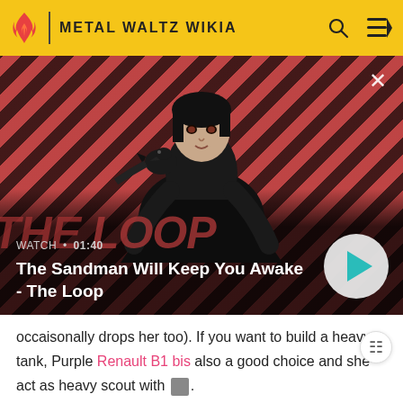METAL WALTZ WIKIA
[Figure (screenshot): Video thumbnail for 'The Sandman Will Keep You Awake - The Loop' showing a dark figure with a raven on his shoulder against a red and black diagonal striped background. Watch time shown as 01:40. Play button on the right.]
WATCH • 01:40
The Sandman Will Keep You Awake - The Loop
occaisonally drops her too). If you want to build a heavy tank, Purple Renault B1 bis also a good choice and she act as heavy scout with [tank icon].
You have a Purple [image] Grille M early, and in case you need more SRG before another Purple arrives, M12 or SU-18